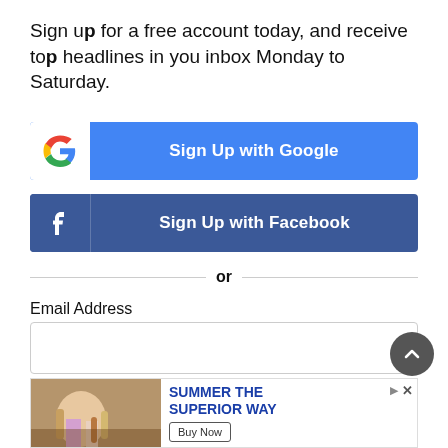Sign up for a free account today, and receive top headlines in you inbox Monday to Saturday.
[Figure (infographic): Sign Up with Google button — blue button with white Google G logo icon on left and white bold text 'Sign Up with Google' centered]
[Figure (infographic): Sign Up with Facebook button — dark blue button with white Facebook f logo icon on left and white bold text 'Sign Up with Facebook' centered]
or
Email Address
[Figure (screenshot): Email Address text input field with a key/password icon on the right]
First Name
[Figure (screenshot): First Name text input field]
[Figure (infographic): Advertisement banner: image of people at a table with beer bottles on the left; text 'SUMMER THE SUPERIOR WAY' in blue bold; 'Buy Now' button; close/ad icons top right]